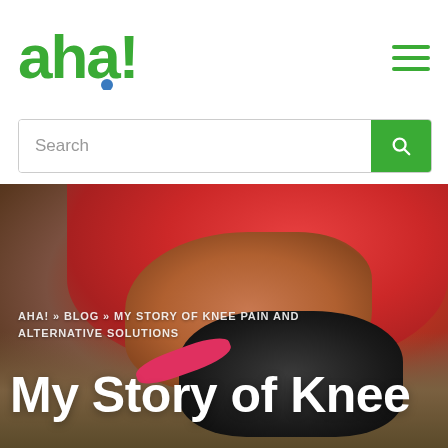[Figure (logo): aha! logo in green with blue dot]
[Figure (other): Hamburger menu icon with three green horizontal lines]
Search
[Figure (photo): Person in red/pink top holding their knee with both hands, wearing a pink wristband, with a dark knee brace visible]
AHA! » BLOG » MY STORY OF KNEE PAIN AND ALTERNATIVE SOLUTIONS
My Story of Knee